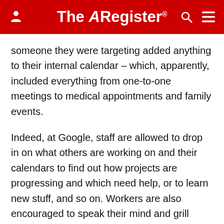The Register
someone they were targeting added anything to their internal calendar – which, apparently, included everything from one-to-one meetings to medical appointments and family events.
Indeed, at Google, staff are allowed to drop in on what others are working on and their calendars to find out how projects are progressing and which need help, or to learn new stuff, and so on. Workers are also encouraged to speak their mind and grill executives on their decisions. This open culture appears to have hit the buffers.
“Looking at such documents is a big part of Google culture,” the stalkers explained, besides “the policy was